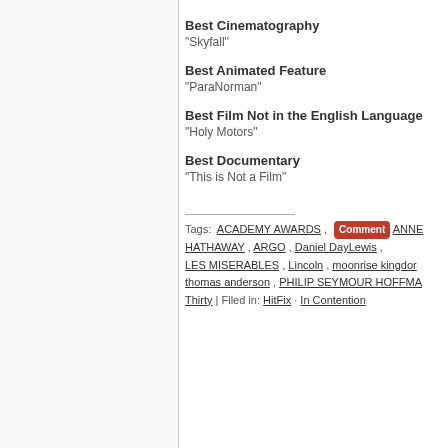Best Cinematography
“Skyfall”
Best Animated Feature
“ParaNorman”
Best Film Not in the English Language
“Holy Motors”
Best Documentary
“This is Not a Film”
Tags: ACADEMY AWARDS , Comment ANNE HATHAWAY , ARGO , Daniel DayLewis , LES MISERABLES , Lincoln , moonrise kingdom , thomas anderson , PHILIP SEYMOUR HOFFMAN , Thirty | Filed in: HitFix · In Contention